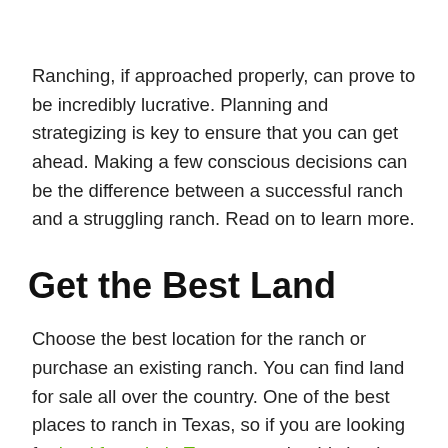Ranching, if approached properly, can prove to be incredibly lucrative. Planning and strategizing is key to ensure that you can get ahead. Making a few conscious decisions can be the difference between a successful ranch and a struggling ranch. Read on to learn more.
Get the Best Land
Choose the best location for the ranch or purchase an existing ranch. You can find land for sale all over the country. One of the best places to ranch in Texas, so if you are looking for land for sale in Texas, you should check out TexasLand. Think about your plans for the ranch let them inform your